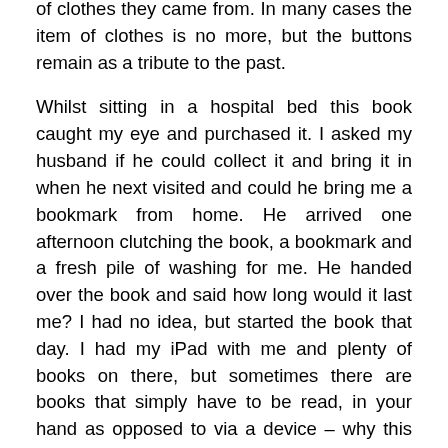of clothes they came from. In many cases the item of clothes is no more, but the buttons remain as a tribute to the past.
Whilst sitting in a hospital bed this book caught my eye and purchased it. I asked my husband if he could collect it and bring it in when he next visited and could he bring me a bookmark from home. He arrived one afternoon clutching the book, a bookmark and a fresh pile of washing for me. He handed over the book and said how long would it last me? I had no idea, but started the book that day. I had my iPad with me and plenty of books on there, but sometimes there are books that simply have to be read, in your hand as opposed to via a device – why this book was one of those I have no idea, perhaps it was the link to family memories or something else, but in the two years since I have had this book I have read it about